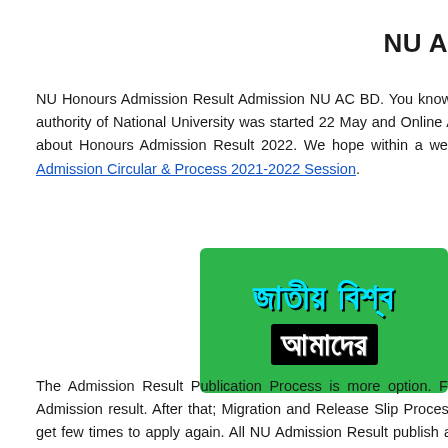NU A
NU Honours Admission Result Admission NU AC BD. You know; authority of National University was started 22 May and Online A about Honours Admission Result 2022. We hope within a wee Admission Circular & Process 2021-2022 Session.
[Figure (illustration): Green banner with Bengali text. Line 1: জাতীয় বিশ্ব (in cyan/teal colored text). Line 2: আমাদের (in white text on black background).]
The Admission Result Publication Process is more option. Fa Admission result. After that; Migration and Release Slip Process get few times to apply again. All NU Admission Result publish at m